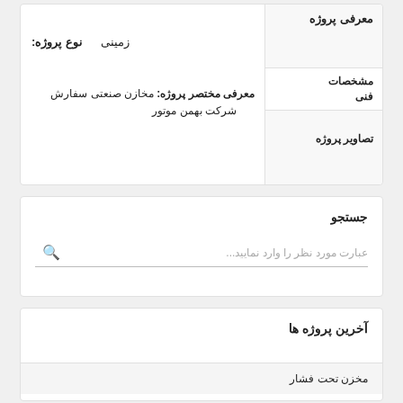معرفی پروژه
نوع پروژه: زمینی
مشخصات فنی
تصاویر پروژه
معرفی مختصر پروژه: مخازن صنعتی سفارش شرکت بهمن موتور
جستجو
عبارت مورد نظر را وارد نمایید...
آخرین پروژه ها
مخزن تحت فشار